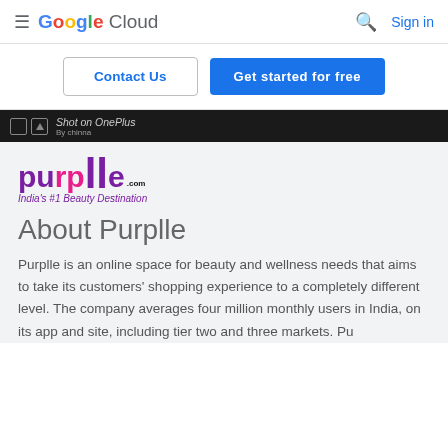Google Cloud — Sign in
Contact Us | Get started for free
[Figure (screenshot): Dark image strip with 'Shot on OnePlus' text and 'By chinna' credit, with camera UI icons]
[Figure (logo): Purplle.com logo — India's #1 Beauty Destination]
About Purplle
Purplle is an online space for beauty and wellness needs that aims to take its customers' shopping experience to a completely different level. The company averages four million monthly users in India, on its app and site, including tier two and three markets. Pu...